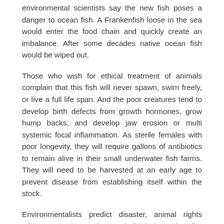environmental scientists say the new fish poses a danger to ocean fish. A Frankenfish loose in the sea would enter the food chain and quickly create an imbalance. After some decades native ocean fish would be wiped out.
Those who wish for ethical treatment of animals complain that this fish will never spawn, swim freely, or live a full life span. And the poor creatures tend to develop birth defects from growth hormones, grow hump backs, and develop jaw erosion or multi systemic focal inflammation. As sterile females with poor longevity, they will require gallons of antibiotics to remain alive in their small underwater fish farms. They will need to be harvested at an early age to prevent disease from establishing itself within the stock.
Environmentalists predict disaster, animal rights advocates cry cruelty, and biologists describe possible health risks and lawsuits. Meanwhile the FDA announces they are on the verge of approval. Is there a veritable edible monster waiting for us in the basement of world food consumption?